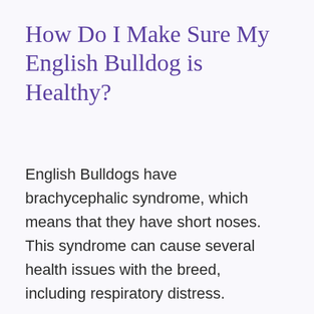How Do I Make Sure My English Bulldog is Healthy?
English Bulldogs have brachycephalic syndrome, which means that they have short noses. This syndrome can cause several health issues with the breed, including respiratory distress.